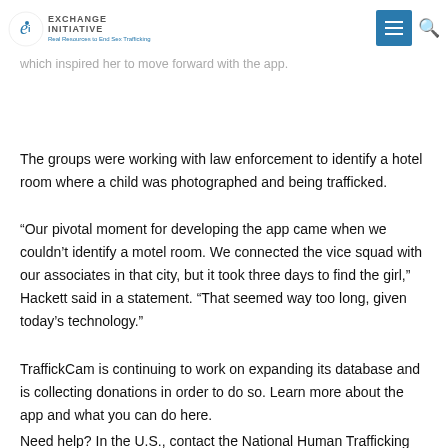Exchange Initiative — Real Resources to End Sex Trafficking (navigation header with logo, hamburger menu, and search icon)
Molly Hackett, principal of the Exchange Initiative and Nix – a group that fights the exploitation of children — said there was one case in particular, which inspired her to move forward with the app.
The groups were working with law enforcement to identify a hotel room where a child was photographed and being trafficked.
“Our pivotal moment for developing the app came when we couldn’t identify a motel room. We connected the vice squad with our associates in that city, but it took three days to find the girl,” Hackett said in a statement. “That seemed way too long, given today’s technology.”
TraffickCam is continuing to work on expanding its database and is collecting donations in order to do so. Learn more about the app and what you can do here.
Need help? In the U.S., contact the National Human Trafficking Resource Center(NHTRC) at 1-888-373-7888